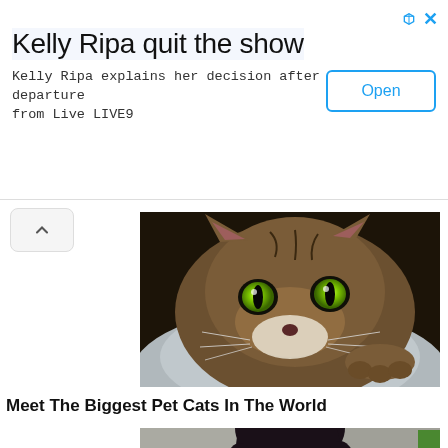Kelly Ripa quit the show
Kelly Ripa explains her decision after departure from Live LIVE9
Open
[Figure (photo): Close-up photo of a large tabby cat with bright green eyes resting on a person's shoulder wearing a grey sweatshirt]
Meet The Biggest Pet Cats In The World
[Figure (photo): Partial photo of a woman with dark hair, cropped at the bottom of the page]